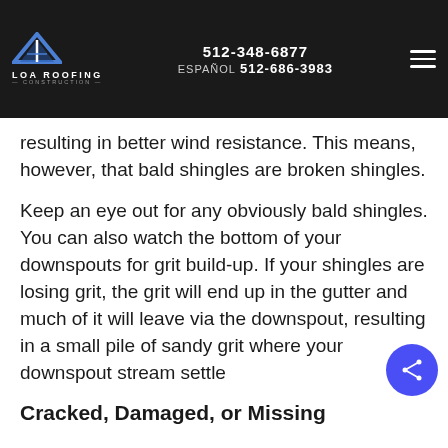LOA ROOFING CONSTRUCTION | 512-348-6877 | ESPAÑOL 512-686-3983
nd make them brittle, and significant added weight resulting in better wind resistance. This means, however, that bald shingles are broken shingles.
Keep an eye out for any obviously bald shingles. You can also watch the bottom of your downspouts for grit build-up. If your shingles are losing grit, the grit will end up in the gutter and much of it will leave via the downspout, resulting in a small pile of sandy grit where your downspout stream settle
Cracked, Damaged, or Missing